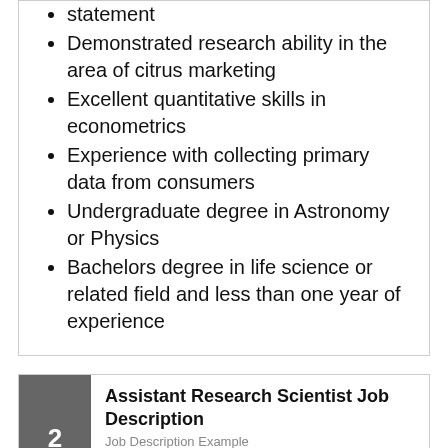statement
Demonstrated research ability in the area of citrus marketing
Excellent quantitative skills in econometrics
Experience with collecting primary data from consumers
Undergraduate degree in Astronomy or Physics
Bachelors degree in life science or related field and less than one year of experience
2 Assistant Research Scientist Job Description
Job Description Example
Our growing company is looking to fill the role of assistant research scientist. Please review the list